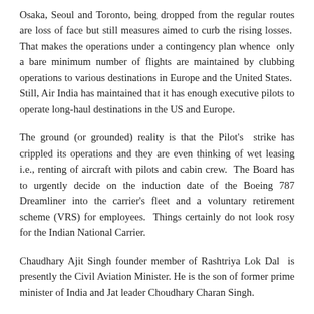Osaka, Seoul and Toronto, being dropped from the regular routes are loss of face but still measures aimed to curb the rising losses. That makes the operations under a contingency plan whence only a bare minimum number of flights are maintained by clubbing operations to various destinations in Europe and the United States. Still, Air India has maintained that it has enough executive pilots to operate long-haul destinations in the US and Europe.
The ground (or grounded) reality is that the Pilot's strike has crippled its operations and they are even thinking of wet leasing i.e., renting of aircraft with pilots and cabin crew. The Board has to urgently decide on the induction date of the Boeing 787 Dreamliner into the carrier's fleet and a voluntary retirement scheme (VRS) for employees. Things certainly do not look rosy for the Indian National Carrier.
Chaudhary Ajit Singh founder member of Rashtriya Lok Dal is presently the Civil Aviation Minister. He is the son of former prime minister of India and Jat leader Choudhary Charan Singh.
With regards – S. Sampathkumar.
28th May 2012.